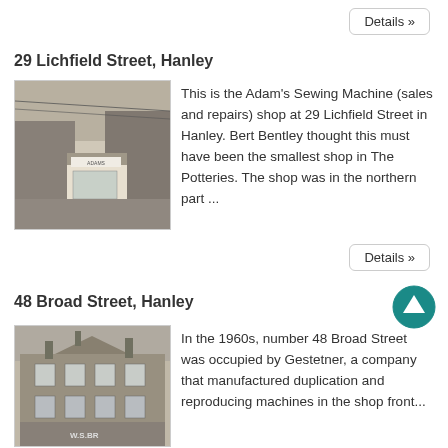Details »
29 Lichfield Street, Hanley
[Figure (photo): Black and white photograph of a small shop front at 29 Lichfield Street, Hanley — Adam's Sewing Machine shop, appearing to be a very small kiosk-style building.]
This is the Adam's Sewing Machine (sales and repairs) shop at 29 Lichfield Street in Hanley. Bert Bentley thought this must have been the smallest shop in The Potteries. The shop was in the northern part ...
Details »
48 Broad Street, Hanley
[Figure (photo): Black and white photograph of a Victorian-era building at 48 Broad Street, Hanley, with 'W.S.BR' visible on signage.]
In the 1960s, number 48 Broad Street was occupied by Gestetner, a company that manufactured duplication and reproducing machines in the shop front...